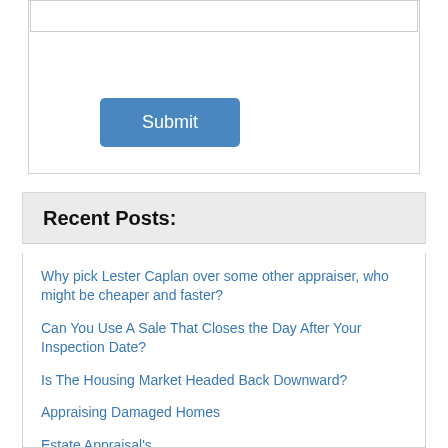[Figure (screenshot): Input text field (form element) with border]
[Figure (screenshot): Submit button, blue with white text]
Recent Posts:
Why pick Lester Caplan over some other appraiser, who might be cheaper and faster?
Can You Use A Sale That Closes the Day After Your Inspection Date?
Is The Housing Market Headed Back Downward?
Appraising Damaged Homes
Estate Appraisal's
Tips for buyers on Reading a Home Inspection Report
Tips on how Realtors can get the appraisal done...